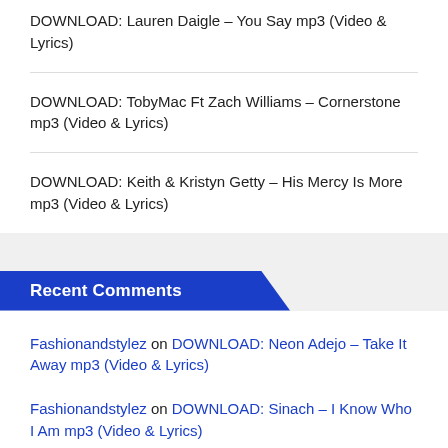DOWNLOAD: Lauren Daigle – You Say mp3 (Video & Lyrics)
DOWNLOAD: TobyMac Ft Zach Williams – Cornerstone mp3 (Video & Lyrics)
DOWNLOAD: Keith & Kristyn Getty – His Mercy Is More mp3 (Video & Lyrics)
Recent Comments
Fashionandstylez on DOWNLOAD: Neon Adejo – Take It Away mp3 (Video & Lyrics)
Fashionandstylez on DOWNLOAD: Sinach – I Know Who I Am mp3 (Video & Lyrics)
Johnson on Hillsong – Let The Peace Of God Reign mp3 (Video & Lyrics)